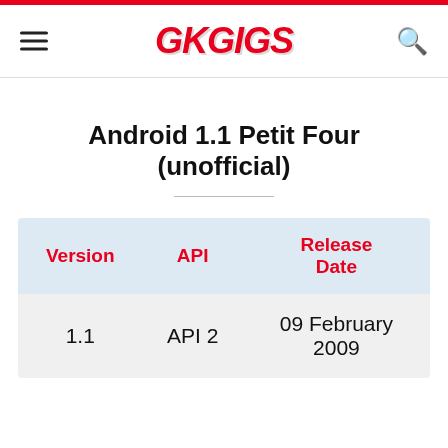GKGIGS
Android 1.1 Petit Four (unofficial)
| Version | API | Release Date |
| --- | --- | --- |
| 1.1 | API 2 | 09 February 2009 |